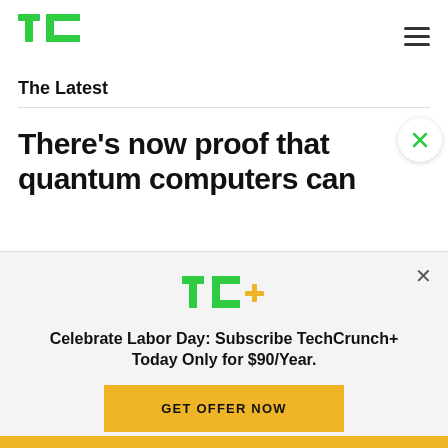TechCrunch logo and navigation menu
The Latest
There’s now proof that quantum computers can
[Figure (logo): TC+ logo with green TC letters and yellow plus sign]
Celebrate Labor Day: Subscribe TechCrunch+ Today Only for $90/Year.
GET OFFER NOW